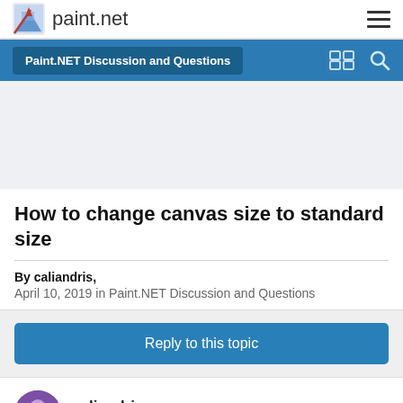paint.net
Paint.NET Discussion and Questions
[Figure (other): Advertisement or banner placeholder area with light grey background]
How to change canvas size to standard size
By caliandris,
April 10, 2019 in Paint.NET Discussion and Questions
Reply to this topic
caliandris